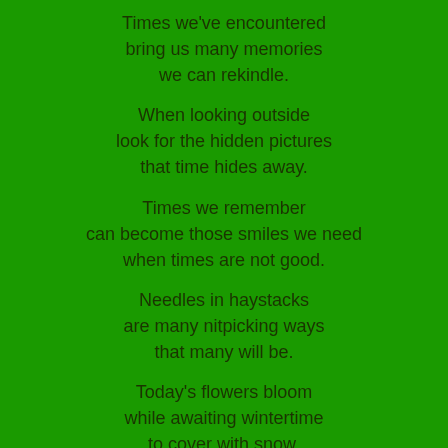Times we've encountered
bring us many memories
we can rekindle.
When looking outside
look for the hidden pictures
that time hides away.
Times we remember
can become those smiles we need
when times are not good.
Needles in haystacks
are many nitpicking ways
that many will be.
Today's flowers bloom
while awaiting wintertime
to cover with snow.
Chances of today
have their own sense of value.
Some better to not.